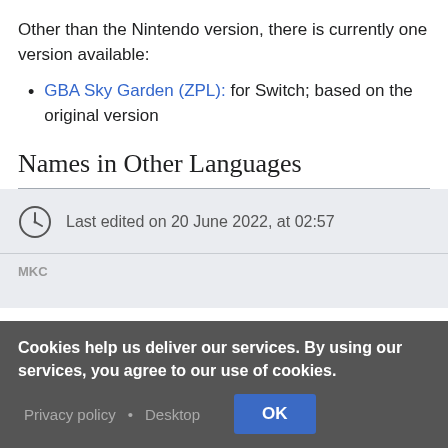Other than the Nintendo version, there is currently one version available:
GBA Sky Garden (ZPL): for Switch; based on the original version
Names in Other Languages
Last edited on 20 June 2022, at 02:57
Cookies help us deliver our services. By using our services, you agree to our use of cookies.
Privacy policy • Desktop OK